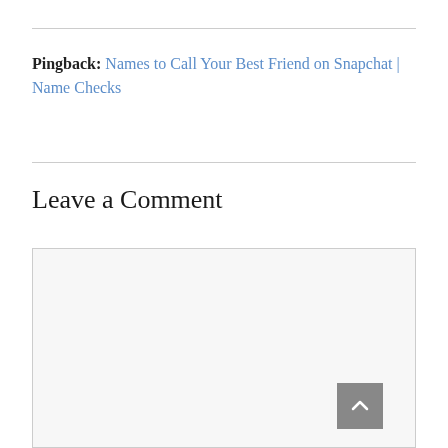Pingback: Names to Call Your Best Friend on Snapchat | Name Checks
Leave a Comment